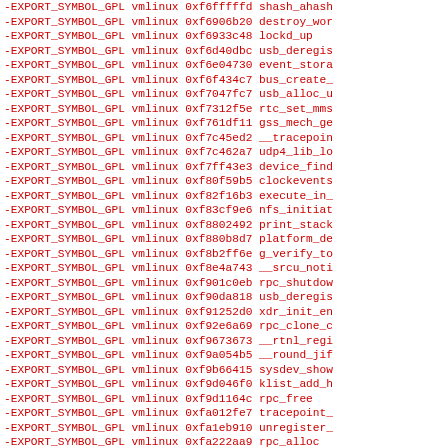-EXPORT_SYMBOL_GPL vmlinux 0xf6fffffd shash_ahash
-EXPORT_SYMBOL_GPL vmlinux 0xf6906b20 destroy_wor
-EXPORT_SYMBOL_GPL vmlinux 0xf6933c48 lockd_up
-EXPORT_SYMBOL_GPL vmlinux 0xf6d40dbc usb_deregis
-EXPORT_SYMBOL_GPL vmlinux 0xf6e04730 event_stora
-EXPORT_SYMBOL_GPL vmlinux 0xf6f434c7 bus_create_
-EXPORT_SYMBOL_GPL vmlinux 0xf7047fc7 usb_alloc_u
-EXPORT_SYMBOL_GPL vmlinux 0xf7312f5e rtc_set_mms
-EXPORT_SYMBOL_GPL vmlinux 0xf761df11 gss_mech_ge
-EXPORT_SYMBOL_GPL vmlinux 0xf7c45ed2 __tracepoin
-EXPORT_SYMBOL_GPL vmlinux 0xf7c462a7 udp4_lib_lo
-EXPORT_SYMBOL_GPL vmlinux 0xf7ff43e3 device_find
-EXPORT_SYMBOL_GPL vmlinux 0xf80f59b5 clockevents
-EXPORT_SYMBOL_GPL vmlinux 0xf82f16b3 execute_in_
-EXPORT_SYMBOL_GPL vmlinux 0xf83cf9e6 nfs_initiat
-EXPORT_SYMBOL_GPL vmlinux 0xf8802492 print_stack
-EXPORT_SYMBOL_GPL vmlinux 0xf880b8d7 platform_de
-EXPORT_SYMBOL_GPL vmlinux 0xf8b2ff6e g_verify_to
-EXPORT_SYMBOL_GPL vmlinux 0xf8e4a743 __srcu_noti
-EXPORT_SYMBOL_GPL vmlinux 0xf901c0eb rpc_shutdown
-EXPORT_SYMBOL_GPL vmlinux 0xf90da818 usb_deregis
-EXPORT_SYMBOL_GPL vmlinux 0xf91252d0 xdr_init_en
-EXPORT_SYMBOL_GPL vmlinux 0xf92e6a69 rpc_clone_c
-EXPORT_SYMBOL_GPL vmlinux 0xf9673673 __rtnl_regi
-EXPORT_SYMBOL_GPL vmlinux 0xf9a054b5 __round_jif
-EXPORT_SYMBOL_GPL vmlinux 0xf9b66415 sysdev_show
-EXPORT_SYMBOL_GPL vmlinux 0xf9d046f0 klist_add_h
-EXPORT_SYMBOL_GPL vmlinux 0xf9d1164c rpc_free
-EXPORT_SYMBOL_GPL vmlinux 0xfa012fe7 tracepoint_
-EXPORT_SYMBOL_GPL vmlinux 0xfa1eb910 unregister_
-EXPORT_SYMBOL_GPL vmlinux 0xfa222aa9 rpc_alloc